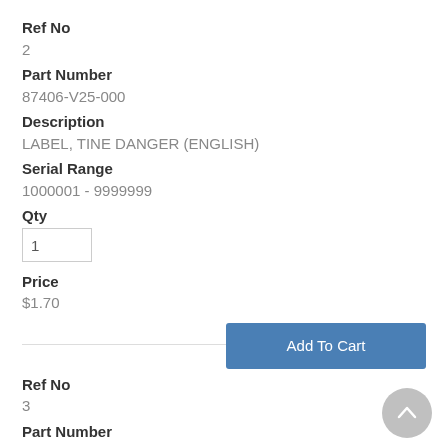Ref No
2
Part Number
87406-V25-000
Description
LABEL, TINE DANGER (ENGLISH)
Serial Range
1000001 - 9999999
Qty
1
Price
$1.70
Ref No
3
Part Number
87501-V06-000
Description